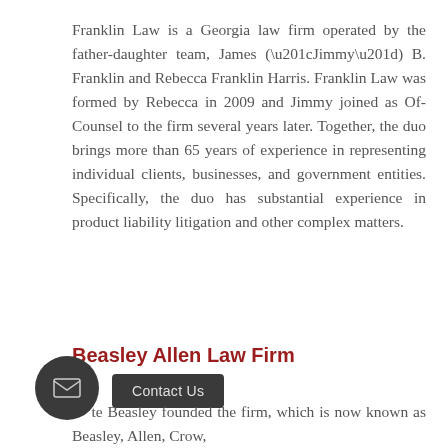Franklin Law is a Georgia law firm operated by the father-daughter team, James (“Jimmy”) B. Franklin and Rebecca Franklin Harris. Franklin Law was formed by Rebecca in 2009 and Jimmy joined as Of-Counsel to the firm several years later. Together, the duo brings more than 65 years of experience in representing individual clients, businesses, and government entities. Specifically, the duo has substantial experience in product liability litigation and other complex matters.
Beasley Allen Law Firm
...te Beasley founded the firm, which is now known as Beasley, Allen, Crow,